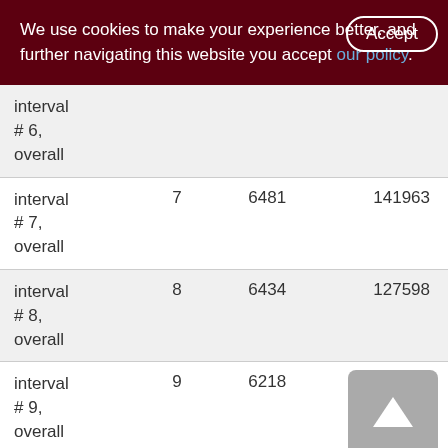We use cookies to make your experience better. By accepting and further navigating this website you accept our policy.
|  |  |  |  |
| --- | --- | --- | --- |
| interval # 6, overall |  |  |  |
| interval # 7, overall | 7 | 6481 | 141963 |
| interval # 8, overall | 8 | 6434 | 127598 |
| interval # 9, overall | 9 | 6218 | 128579 |
| interval | 10 | 5894 | 122558 |